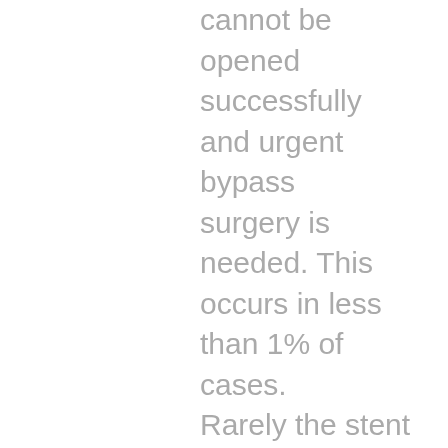cannot be opened successfully and urgent bypass surgery is needed. This occurs in less than 1% of cases. Rarely the stent can become dislodged before it reaches the correct area. As the stent is a foreign material inside the artery until it is covered by the healing process it can induce a blood clot which could block the artery. This is rare, occurring in less than 1%. It is most likely to occur in the first week. If you develop severe chest pain resembling your original angina you should call the ambulance and be assessed in hospital. The great advantage of stents is a reduction in the chance of renarrowing after angioplasty. With balloons alone this occurs in one third of patients in the first 6 months. With stents the incidence of renarrowing and recurrent pain falls to less than one in six.